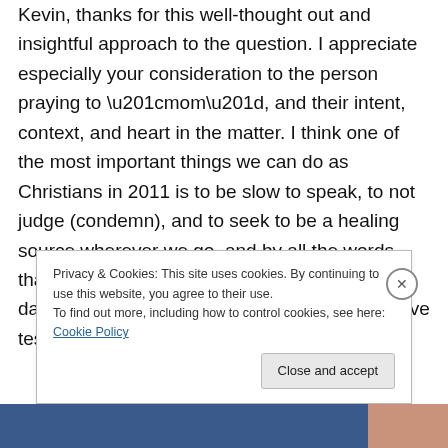Kevin, thanks for this well-thought out and insightful approach to the question. I appreciate especially your consideration to the person praying to “mom”, and their intent, context, and heart in the matter. I think one of the most important things we can do as Christians in 2011 is to be slow to speak, to not judge (condemn), and to seek to be a healing source wherever we go, and by all the words that escape our lips, given the mass amount of damage that many Christian/non-Christians have testified of from
Privacy & Cookies: This site uses cookies. By continuing to use this website, you agree to their use.
To find out more, including how to control cookies, see here: Cookie Policy
Close and accept